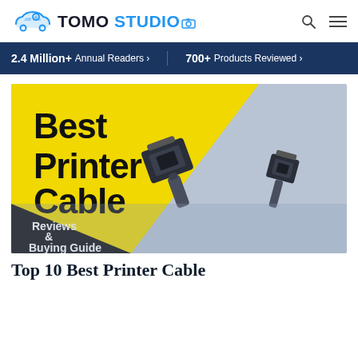TOMO STUDIO
2.4 Million+ Annual Readers › 700+ Products Reviewed ›
[Figure (illustration): Hero image for article about best printer cables. Yellow and black diagonal split background with bold text 'Best Printer Cable' and 'Reviews & Buying Guide'. Photo of USB and USB-B printer cable connectors on a blue-grey surface.]
Top 10 Best Printer Cable